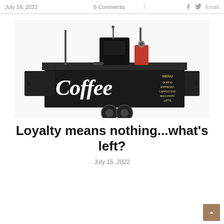July 18, 2022   6 Comments   Email
[Figure (photo): A mobile coffee cart with a black countertop and front panel displaying 'Coffee' in white script lettering. A menu board on the right lists DOPPIO, ESPRESSO, CAPPUCCINO, MACCHIATO, LATTE. Espresso machine and grinder visible on top. White background.]
Loyalty means nothing...what's left?
July 15, 2022